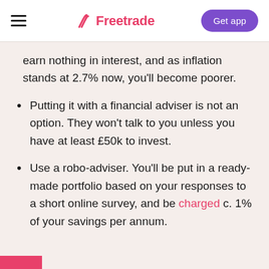Freetrade — Get app
earn nothing in interest, and as inflation stands at 2.7% now, you'll become poorer.
Putting it with a financial adviser is not an option. They won't talk to you unless you have at least £50k to invest.
Use a robo-adviser. You'll be put in a ready-made portfolio based on your responses to a short online survey, and be charged c. 1% of your savings per annum.